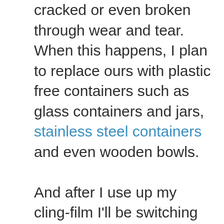cracked or even broken through wear and tear. When this happens, I plan to replace ours with plastic free containers such as glass containers and jars, stainless steel containers and even wooden bowls.

And after I use up my cling-film I'll be switching to beeswax food wrappers as a way of keeping sandwiches fresh and covering food containers in the fridge. I have read that these can be hit and miss in terms of odour, but I'll try a few until we find ones that work for us. Anything is better than yet more plastic going to landfill.